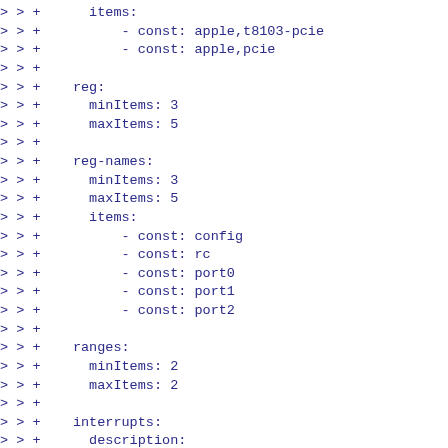> > +      items:
> > +          - const: apple,t8103-pcie
> > +          - const: apple,pcie
> > +
> > +    reg:
> > +      minItems: 3
> > +      maxItems: 5
> > +
> > +    reg-names:
> > +      minItems: 3
> > +      maxItems: 5
> > +      items:
> > +          - const: config
> > +          - const: rc
> > +          - const: port0
> > +          - const: port1
> > +          - const: port2
> > +
> > +    ranges:
> > +      minItems: 2
> > +      maxItems: 2
> > +
> > +    interrupts:
> > +      description:
> > +          Interrupt specifiers, one
    for each root port.
> > +      minItems: 1
> > +      maxItems: 3
> > +
> > +    msi-controller: true